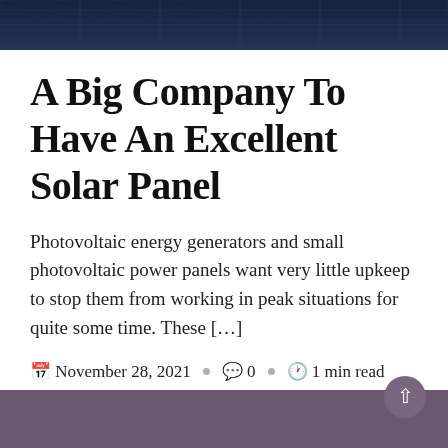[Figure (photo): Close-up photo of solar panels, dark blue grid texture]
A Big Company To Have An Excellent Solar Panel
Photovoltaic energy generators and small photovoltaic power panels want very little upkeep to stop them from working in peak situations for quite some time. These [...]
🗓 November 28, 2021 · 🗨 0 · 🕐 1 min read